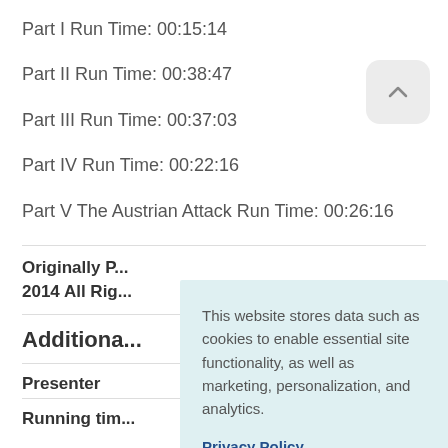Part I Run Time: 00:15:14
Part II Run Time: 00:38:47
Part III Run Time: 00:37:03
Part IV Run Time: 00:22:16
Part V The Austrian Attack Run Time: 00:26:16
Originally P... 2014 All Rig...
Additional...
Presenter
Running tim...
This website stores data such as cookies to enable essential site functionality, as well as marketing, personalization, and analytics.

Privacy Policy

ACCEPT   DENY